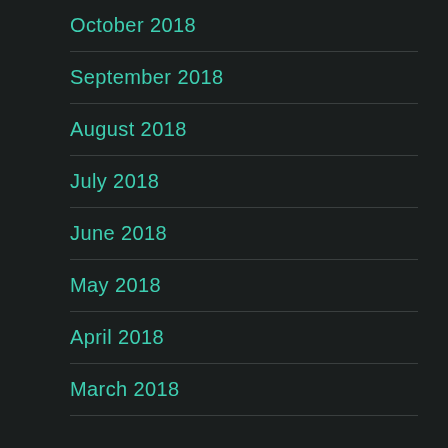October 2018
September 2018
August 2018
July 2018
June 2018
May 2018
April 2018
March 2018